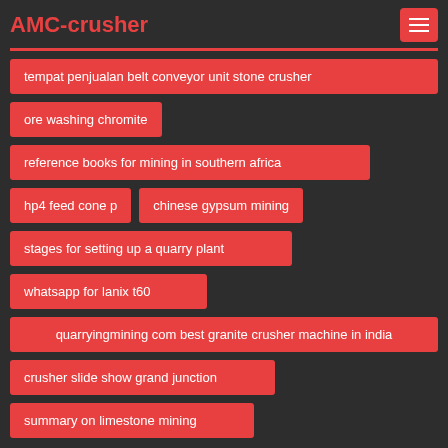AMC-crusher
tempat penjualan belt conveyor unit stone crusher
ore washing chromite
reference books for mining in southern africa
hp4 feed cone p
chinese gypsum mining
stages for setting up a quarry plant
whatsapp for lanix t60
quarryingmining com best granite crusher machine in india
crusher slide show grand junction
summary on limestone mining